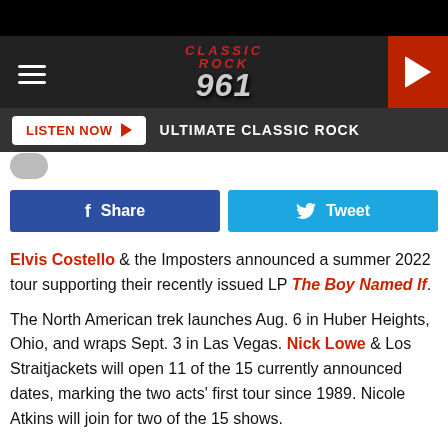[Figure (logo): Classic Rock 96.1 radio station header with hamburger menu, logo, and play button]
LISTEN NOW ► ULTIMATE CLASSIC ROCK
[Figure (infographic): Facebook Share button and Twitter Tweet button]
Elvis Costello & the Imposters announced a summer 2022 tour supporting their recently issued LP The Boy Named If.
The North American trek launches Aug. 6 in Huber Heights, Ohio, and wraps Sept. 3 in Las Vegas. Nick Lowe & Los Straitjackets will open 11 of the 15 currently announced dates, marking the two acts' first tour since 1989. Nicole Atkins will join for two of the 15 shows.